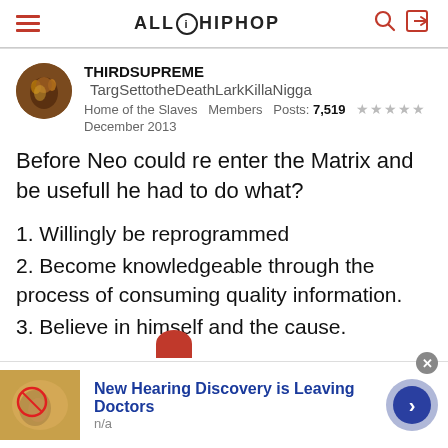ALL HIP HOP
THIRDSUPREME  TargSettotheDeathLarkKillaNigga
Home of the Slaves  Members  Posts: 7,519  ★★★★★
December 2013
Before Neo could re enter the Matrix and be usefull he had to do what?
1. Willingly be reprogrammed
2. Become knowledgeable through the process of consuming quality information.
3. Believe in himself and the cause.
[Figure (infographic): Advertisement banner: ear anatomy image with red circle, text 'New Hearing Discovery is Leaving Doctors', subtext 'n/a', close button, and blue arrow button]